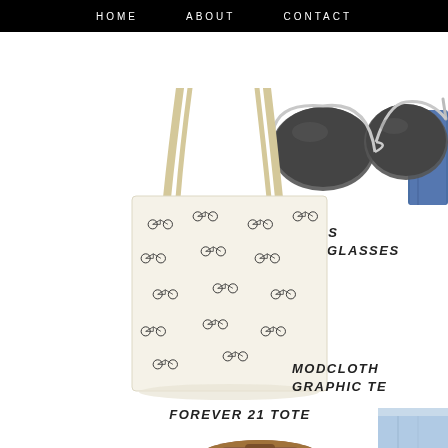HOME   ABOUT   CONTACT
[Figure (photo): Forever 21 tote bag with bicycle print pattern, cream/off-white canvas]
FOREVER 21 TOTE
[Figure (photo): Toms aviator sunglasses with silver frame and dark grey lenses]
TOMS SUNGLASSES
MODCLOTH GRAPHIC TE
[Figure (photo): Partial view of blue denim jacket on right side]
[Figure (photo): Partial view of light blue denim shorts on right bottom]
[Figure (photo): Partial view of brown leather sandal/belt at bottom]